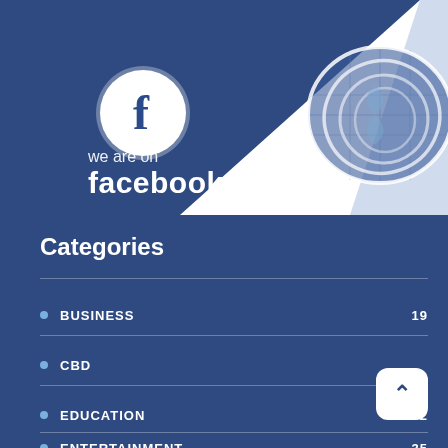[Figure (illustration): Facebook promotional banner with blue diagonal background, Facebook 'f' circle logo, swirl/globe logo in upper right, and text 'we are on facebook']
Categories
BUSINESS 19
CBD
EDUCATION 2
ENTERTAINMENT 35